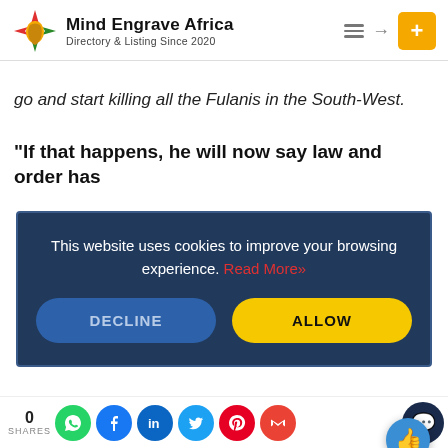[Figure (logo): Mind Engrave Africa logo with compass-like icon in red/green/yellow, text: Mind Engrave Africa, Directory & Listing Since 2020]
go and start killing all the Fulanis in the South-West.
“If that happens, he will now say law and order has
This website uses cookies to improve your browsing experience. Read More»
to counsels by various groups across the country is w is fueling most of the unrest.
“By refusing to listen to Southern leaders, Afenifere,
0 SHARES